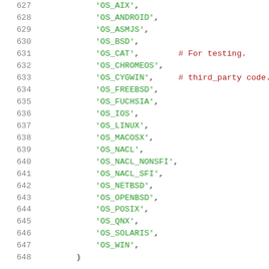627    'OS_AIX',
628    'OS_ANDROID',
629    'OS_ASMJS',
630    'OS_BSD',
631    'OS_CAT',        # For testing.
632    'OS_CHROMEOS',
633    'OS_CYGWIN',     # third_party code.
634    'OS_FREEBSD',
635    'OS_FUCHSIA',
636    'OS_IOS',
637    'OS_LINUX',
638    'OS_MACOSX',
639    'OS_NACL',
640    'OS_NACL_NONSFI',
641    'OS_NACL_SFI',
642    'OS_NETBSD',
643    'OS_OPENBSD',
644    'OS_POSIX',
645    'OS_QNX',
646    'OS_SOLARIS',
647    'OS_WIN',
648    )